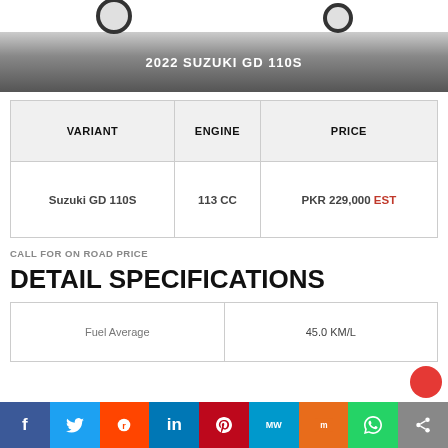[Figure (photo): Partial view of motorcycle wheels against white background]
2022 SUZUKI GD 110S
| VARIANT | ENGINE | PRICE |
| --- | --- | --- |
| Suzuki GD 110S | 113 CC | PKR 229,000 EST |
CALL FOR ON ROAD PRICE
DETAIL SPECIFICATIONS
| Fuel Average | 45.0 KM/L |
f  Twitter  Reddit  in  Pinterest  MW  Mix  WhatsApp  Share